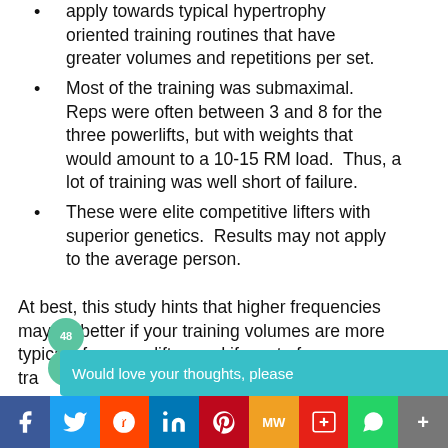apply towards typical hypertrophy oriented training routines that have greater volumes and repetitions per set.
Most of the training was submaximal. Reps were often between 3 and 8 for the three powerlifts, but with weights that would amount to a 10-15 RM load. Thus, a lot of training was well short of failure.
These were elite competitive lifters with superior genetics. Results may not apply to the average person.
At best, this study hints that higher frequencies may be better if your training volumes are more typical of a powerlifter, and if most of your tra... ls l